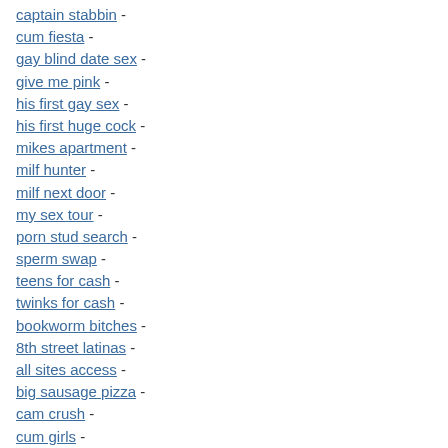captain stabbin -
cum fiesta -
gay blind date sex -
give me pink -
his first gay sex -
his first huge cock -
mikes apartment -
milf hunter -
milf next door -
my sex tour -
porn stud search -
sperm swap -
teens for cash -
twinks for cash -
bookworm bitches -
8th street latinas -
all sites access -
big sausage pizza -
cam crush -
cum girls -
dangerous dongs -
euro sex parties -
first time auditions -